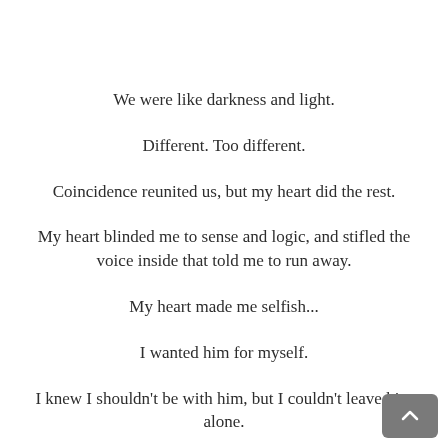We were like darkness and light.
Different. Too different.
Coincidence reunited us, but my heart did the rest.
My heart blinded me to sense and logic, and stifled the voice inside that told me to run away.
My heart made me selfish...
I wanted him for myself.
I knew I shouldn't be with him, but I couldn't leave him alone.
That very thing could be my downfall.